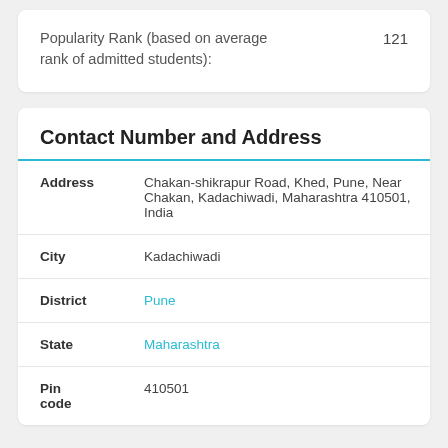Popularity Rank (based on average rank of admitted students): 121
Contact Number and Address
| Field | Value |
| --- | --- |
| Address | Chakan-shikrapur Road, Khed, Pune, Near Chakan, Kadachiwadi, Maharashtra 410501, India |
| City | Kadachiwadi |
| District | Pune |
| State | Maharashtra |
| Pin code | 410501 |